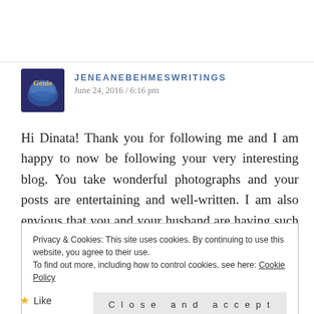[Figure (photo): Avatar image of a genie/globe icon for user JeneaneBehmesWritings]
JENEANEBEHMESWRITINGS
June 24, 2016 / 6:16 pm
Hi Dinata! Thank you for following me and I am happy to now be following your very interesting blog. You take wonderful photographs and your posts are entertaining and well-written. I am also envious that you and your husband are having such great traveling adventures! I have done a wee bit of traveling in my younger days and I hope to be able to do more in the future but for now I will get to enjoy your
Privacy & Cookies: This site uses cookies. By continuing to use this website, you agree to their use.
To find out more, including how to control cookies, see here: Cookie Policy
Close and accept
Like